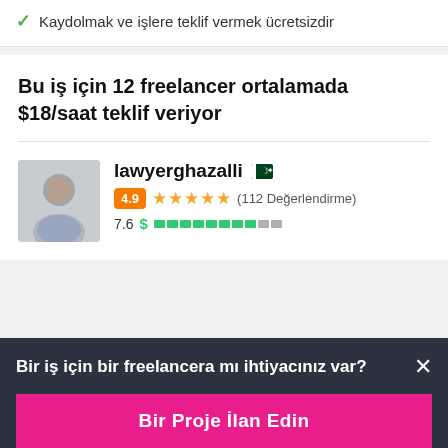Kaydolmak ve işlere teklif vermek ücretsizdir
Bu iş için 12 freelancer ortalamada $18/saat teklif veriyor
lawyerghazalli  4.9 ★★★★★ (112 Değerlendirme)  7.6 $ [progress bar]
Bir iş için bir freelancera mı ihtiyacınız var?
Bir Proje İlan Edin